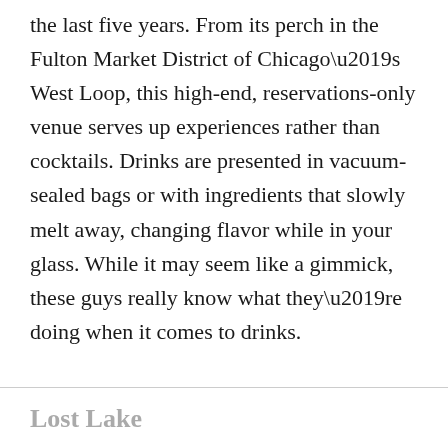the last five years. From its perch in the Fulton Market District of Chicago’s West Loop, this high-end, reservations-only venue serves up experiences rather than cocktails. Drinks are presented in vacuum-sealed bags or with ingredients that slowly melt away, changing flavor while in your glass. While it may seem like a gimmick, these guys really know what they’re doing when it comes to drinks.
Lost Lake